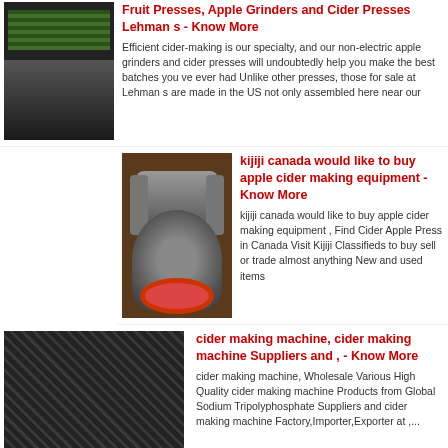[Figure (photo): Thumbnail image of a fruit press or cider-making equipment, dark metallic with green elements]
Fruit Presses, Apple Grinders and Cider Presses Lehman s - Know More
Efficient cider-making is our specialty, and our non-electric apple grinders and cider presses will undoubtedly help you make the best batches you ve ever had Unlike other presses, those for sale at Lehman s are made in the US not only assembled here near our
[Figure (photo): Thumbnail image of an electric motor with red ring/belt drive]
kijiji canada would like to buy apple cider making equipment - Know More
kijiji canada would like to buy apple cider making equipment , Find Cider Apple Press in Canada Visit Kijiji Classifieds to buy sell or trade almost anything New and used items
[Figure (photo): Thumbnail image of mesh/wire material, dark gray texture]
cider making machine, cider making machine Suppliers and , - Know More
cider making machine, Wholesale Various High Quality cider making machine Products from Global Sodium Tripolyphosphate Suppliers and cider making machine Factory,Importer,Exporter at ,...
[Figure (photo): Partial thumbnail at bottom of page]
Cider Making for sale eBay - Know More